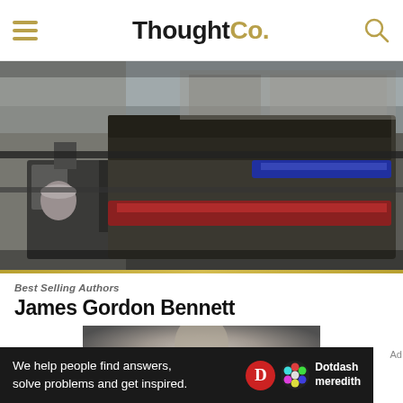ThoughtCo.
[Figure (photo): Industrial printing machine with red and blue ink rollers in a print shop]
Best Selling Authors
James Gordon Bennett
[Figure (photo): Black and white portrait photograph of James Gordon Bennett]
We help people find answers, solve problems and get inspired. — Dotdash meredith